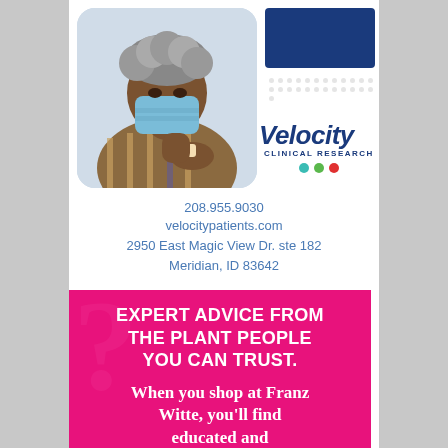[Figure (photo): Elderly Black woman wearing a blue face mask, showing her upper arm with a bandage after vaccination, wearing a striped shirt]
[Figure (logo): Velocity Clinical Research logo with blue rectangle, dot grid, italic Velocity text, CLINICAL RESEARCH subtitle, and three colored dots (teal, green, red)]
208.955.9030
velocitypatients.com
2950 East Magic View Dr. ste 182
Meridian, ID 83642
[Figure (infographic): Pink/magenta advertisement box with large watermark question mark, bold white uppercase headline EXPERT ADVICE FROM THE PLANT PEOPLE YOU CAN TRUST., and white serif body text beginning: When you shop at Franz Witte, you'll find educated and]